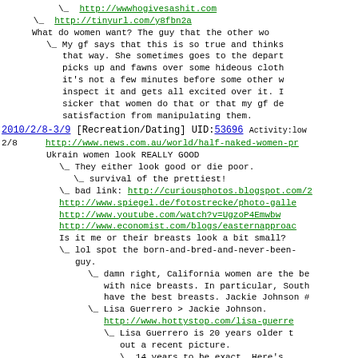\ http://wwwhogivesashit.com
\ http://tinyurl.com/y8fbn2a
What do women want? The guy that the other wo
\ My gf says that this is so true and thinks that way. She sometimes goes to the depart picks up and fawns over some hideous cloth it's not a few minutes before some other w inspect it and gets all excited over it. I sicker that women do that or that my gf de satisfaction from manipulating them.
2010/2/8-3/9 [Recreation/Dating] UID:53696 Activity:low
2/8   http://www.news.com.au/world/half-naked-women-pr
Ukrain women look REALLY GOOD
\ They either look good or die poor.
\ survival of the prettiest!
\ bad link: http://curiousphotos.blogspot.com/2
http://www.spiegel.de/fotostrecke/photo-galle
http://www.youtube.com/watch?v=UgzoP4Emwbw
http://www.economist.com/blogs/easternapproac
Is it me or their breasts look a bit small?
\ lol spot the born-and-bred-and-never-been- guy.
\ damn right, California women are the be with nice breasts. In particular, South have the best breasts. Jackie Johnson #
\ Lisa Guerrero > Jackie Johnson.
http://www.hottystop.com/lisa-guerre
\ Lisa Guerrero is 20 years older t out a recent picture.
\ 14 years to be exact. Here's